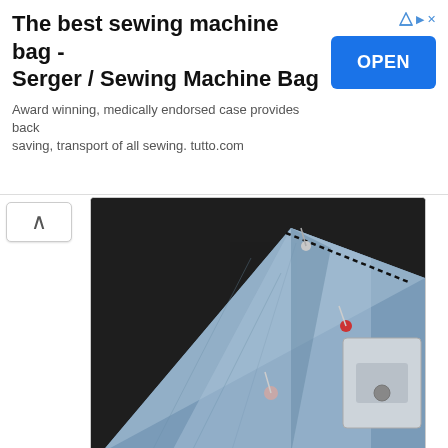[Figure (infographic): Advertisement banner for 'The best sewing machine bag - Serger / Sewing Machine Bag' with an OPEN button]
[Figure (photo): Close-up photo of denim fabric being pinned and sewn along a diagonal line, with a plastic bobbin case visible on the right, on a dark background]
Sew along the line.
[Figure (photo): Photo of a folded denim fabric piece forming a box corner shape, on a white surface, with a dark zipper visible at bottom]
Repeat this step for each side including the liner.